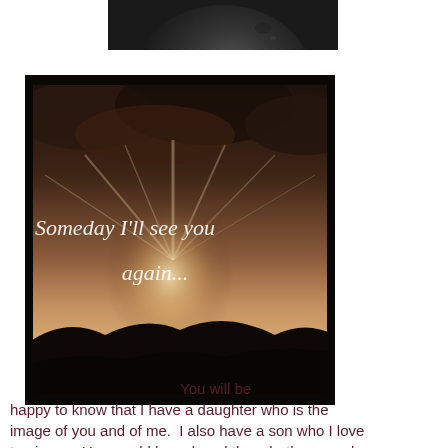[Figure (photo): Partial dark image at top of page, appears to be a close-up of a moon or dark spherical object]
[Figure (photo): Sepia-toned inspirational image showing a dramatic cloudy sky with rays of light over a landscape, with cursive white text overlay reading 'Someday I'll see you again...']
You will be happy to know that I have a daughter who is the image of you and of me.  I also have a son who I love to pieces.  You would have loved them both so much